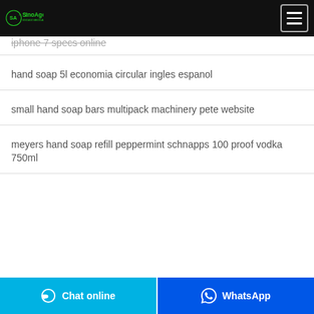SINOAGO MEDICAL Corp
iphone 7 specs online
hand soap 5l economia circular ingles espanol
small hand soap bars multipack machinery pete website
meyers hand soap refill peppermint schnapps 100 proof vodka 750ml
Chat online | WhatsApp